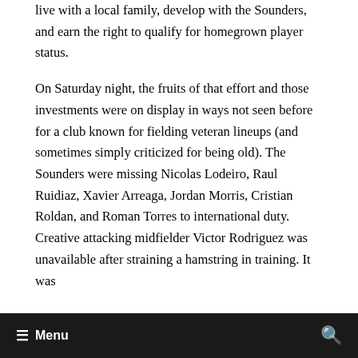live with a local family, develop with the Sounders, and earn the right to qualify for homegrown player status.
On Saturday night, the fruits of that effort and those investments were on display in ways not seen before for a club known for fielding veteran lineups (and sometimes simply criticized for being old). The Sounders were missing Nicolas Lodeiro, Raul Ruidiaz, Xavier Arreaga, Jordan Morris, Cristian Roldan, and Roman Torres to international duty. Creative attacking midfielder Victor Rodriguez was unavailable after straining a hamstring in training. It was
≡ Menu  🔍